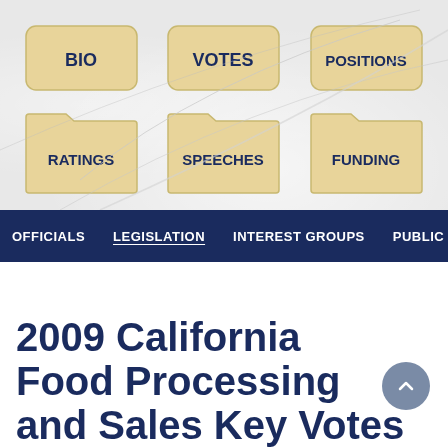[Figure (screenshot): Navigation folder icons row 1: BIO, VOTES, POSITIONS on light gray background]
[Figure (screenshot): Navigation folder icons row 2: RATINGS, SPEECHES, FUNDING on light gray background]
OFFICIALS  LEGISLATION  INTEREST GROUPS  PUBLIC STATI
2009 California Food Processing and Sales Key Votes